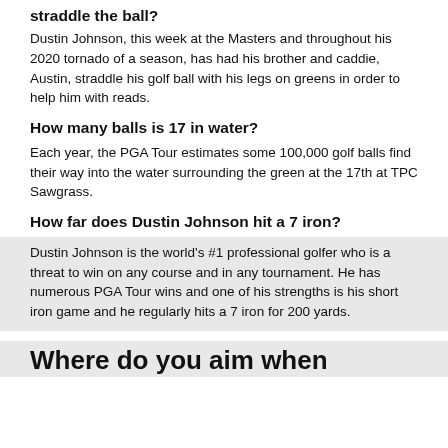Why does Dustin Johnson's caddie straddle the ball?
Dustin Johnson, this week at the Masters and throughout his 2020 tornado of a season, has had his brother and caddie, Austin, straddle his golf ball with his legs on greens in order to help him with reads.
How many balls is 17 in water?
Each year, the PGA Tour estimates some 100,000 golf balls find their way into the water surrounding the green at the 17th at TPC Sawgrass.
How far does Dustin Johnson hit a 7 iron?
Dustin Johnson is the world's #1 professional golfer who is a threat to win on any course and in any tournament. He has numerous PGA Tour wins and one of his strengths is his short iron game and he regularly hits a 7 iron for 200 yards.
Where do you aim when